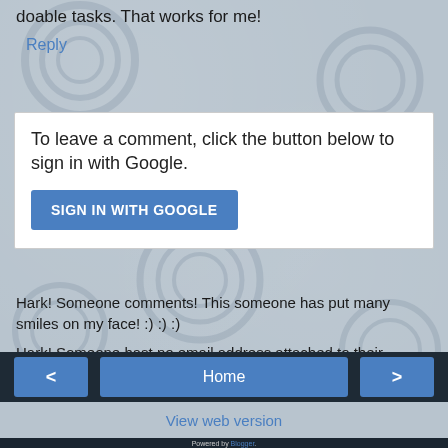doable tasks. That works for me!
Reply
To leave a comment, click the button below to sign in with Google.
SIGN IN WITH GOOGLE
Hark! Someone comments! This someone has put many smiles on my face! :) :) :)
Hark! Someone hast no email address attached to their Blogger profile. Alas, I canst not respond to your lovely, smile-making comments. :(
< Home >
View web version
Powered by Blogger.